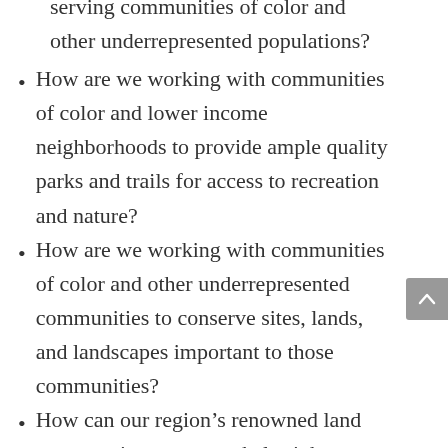serving communities of color and other underrepresented populations?
How are we working with communities of color and lower income neighborhoods to provide ample quality parks and trails for access to recreation and nature?
How are we working with communities of color and other underrepresented communities to conserve sites, lands, and landscapes important to those communities?
How can our region's renowned land conservation programs help right past environmental and cultural inequities to communities of color and the disproportionate impact of the COVID-19 pandemic?
How are we empowering new voices and [continues]